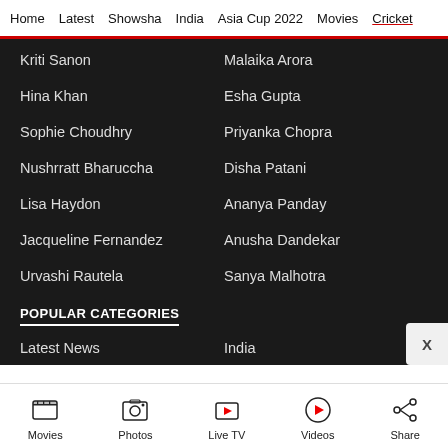Home   Latest   Showsha   India   Asia Cup 2022   Movies   Cricket
Kriti Sanon
Malaika Arora
Hina Khan
Esha Gupta
Sophie Choudhry
Priyanka Chopra
Nushrratt Bharuccha
Disha Patani
Lisa Haydon
Ananya Panday
Jacqueline Fernandez
Anusha Dandekar
Urvashi Rautela
Sanya Malhotra
POPULAR CATEGORIES
Latest News
India
Movies   Photos   Live TV   Videos   Share